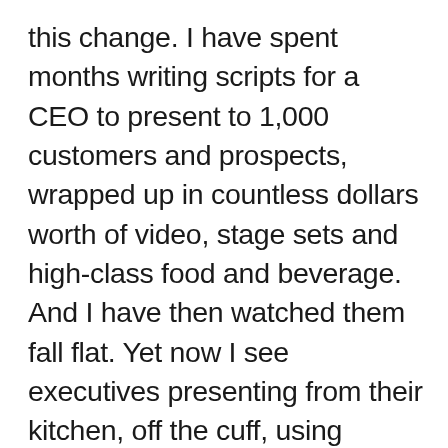this change. I have spent months writing scripts for a CEO to present to 1,000 customers and prospects, wrapped up in countless dollars worth of video, stage sets and high-class food and beverage. And I have then watched them fall flat. Yet now I see executives presenting from their kitchen, off the cuff, using talking points we have written, and delighting their online audience with compelling storytelling and laser focused messaging that drives action. Unthink Ordinary.